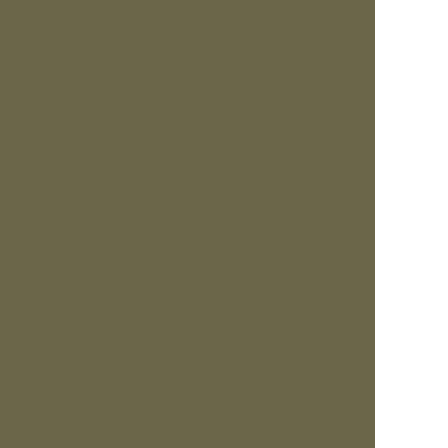impact than had been originally anticipated.
Ultimately however, it was determined that the w... things might appear chaotic during the constructi... once the work had been completed.
Cut and fill amounts were then discussed. There... originally calculated. The revised plan (raising th... one side) will make use of some of this fill. Villag... raising the court and constructing a wall around i... the grade of the land. He requested an up to dat... project.
Mr. Beard asserted that ultimately, they were tryi... possible in order to avoid having to remove it by ... revised plan would have less of an impact in term... (not as much hammering required)
Neighbor Maryjo Guinchard commented that she... supportive of the project but had some concern w... the proposed height, and it's impact on their hom...
The Beard's landscape architect explained that th... that the larger poles will call for a steeper angle o... have back shields.
Mrs. Guinchard also paraphrased some remarks...